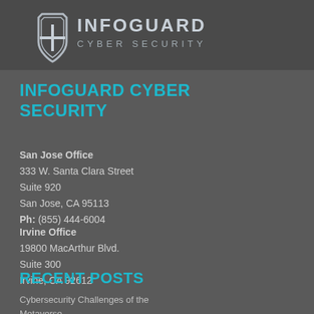[Figure (logo): InfoGuard Cyber Security logo — shield icon with a plus/cross symbol on the left and text INFOGUARD CYBER SECURITY on the right, on a dark grey background]
INFOGUARD CYBER SECURITY
San Jose Office
333 W. Santa Clara Street
Suite 920
San Jose, CA 95113
Ph: (855) 444-6004
Irvine Office
19800 MacArthur Blvd.
Suite 300
Irvine, CA 92612
RECENT POSTS
Cybersecurity Challenges of the Metaverse